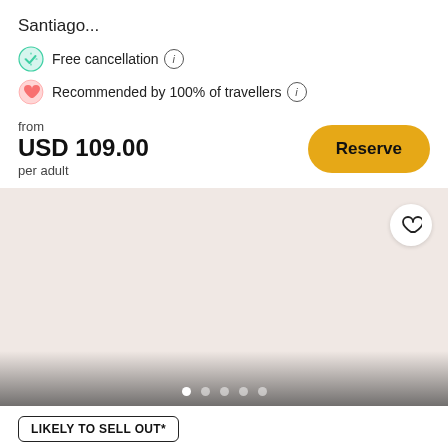Santiago...
Free cancellation (i)
Recommended by 100% of travellers (i)
from
USD 109.00
per adult
[Figure (other): Beige/pink placeholder image area for a travel listing photo with a heart/save button in the top right corner and navigation dots at the bottom]
LIKELY TO SELL OUT*